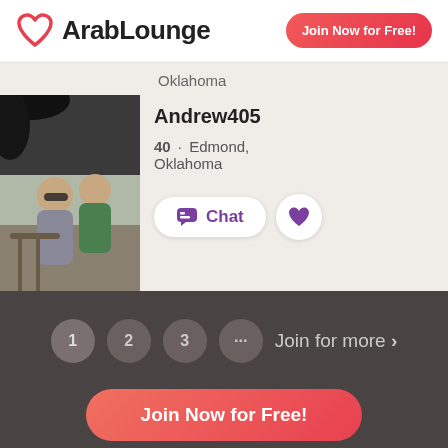[Figure (logo): ArabLounge logo with heart icon]
Join Now for Free!
Oklahoma
[Figure (photo): Profile photo of two men sitting outdoors]
Andrew405
40 · Edmond, Oklahoma
Chat
1  2  3  ...  Join for more >
Join Now for Free!